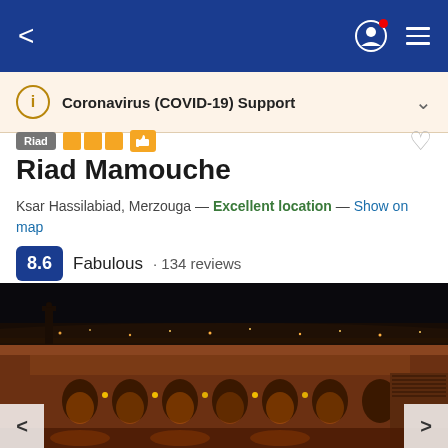Navigation bar with back arrow, user account icon, and hamburger menu
Coronavirus (COVID-19) Support
Riad · 3 stars · Thumbs up
Riad Mamouche
Ksar Hassilabiad, Merzouga — Excellent location — Show on map
8.6 Fabulous · 134 reviews
[Figure (photo): Nighttime aerial view of Riad Mamouche showing illuminated terrace, arched doorways, warm orange lighting, and surrounding dark sky]